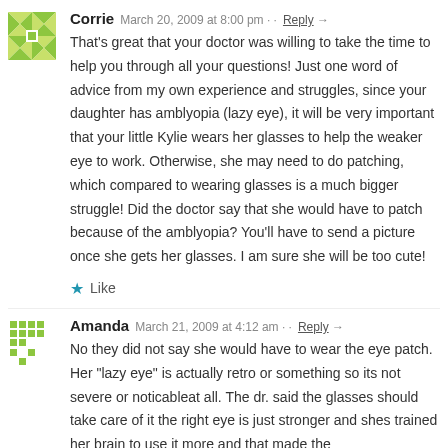Corrie   March 20, 2009 at 8:00 pm · · Reply →
That's great that your doctor was willing to take the time to help you through all your questions! Just one word of advice from my own experience and struggles, since your daughter has amblyopia (lazy eye), it will be very important that your little Kylie wears her glasses to help the weaker eye to work. Otherwise, she may need to do patching, which compared to wearing glasses is a much bigger struggle! Did the doctor say that she would have to patch because of the amblyopia? You'll have to send a picture once she gets her glasses. I am sure she will be too cute!
★ Like
Amanda   March 21, 2009 at 4:12 am · · Reply →
No they did not say she would have to wear the eye patch. Her "lazy eye" is actually retro or something so its not severe or noticableat all. The dr. said the glasses should take care of it the right eye is just stronger and shes trained her brain to use it more and that made the